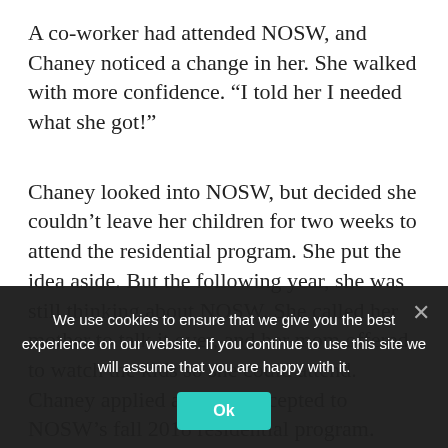A co-worker had attended NOSW, and Chaney noticed a change in her. She walked with more confidence. “I told her I needed what she got!”
Chaney looked into NOSW, but decided she couldn’t leave her children for two weeks to attend the residential program. She put the idea aside. But the following year, she was still thinking about NOSW. She called her mother to talk it over, and her mom offered to watch the kids so she could attend. Chaney applied and was accepted to NOSW’s fall 2018 residential program.
“At the New Opportunity School, I was able to fill
We use cookies to ensure that we give you the best experience on our website. If you continue to use this site we will assume that you are happy with it.